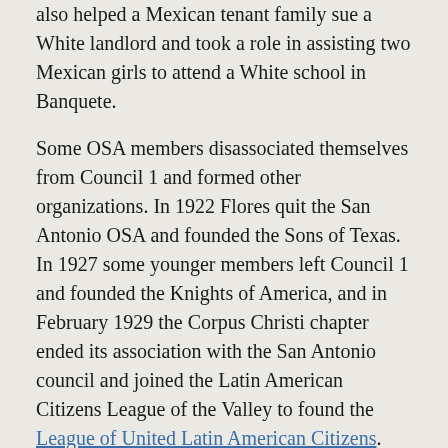also helped a Mexican tenant family sue a White landlord and took a role in assisting two Mexican girls to attend a White school in Banquete.
Some OSA members disassociated themselves from Council 1 and formed other organizations. In 1922 Flores quit the San Antonio OSA and founded the Sons of Texas. In 1927 some younger members left Council 1 and founded the Knights of America, and in February 1929 the Corpus Christi chapter ended its association with the San Antonio council and joined the Latin American Citizens League of the Valley to found the League of United Latin American Citizens.
Is history important to you?